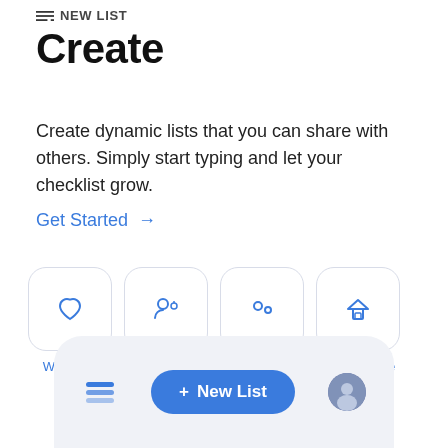NEW LIST
Create
Create dynamic lists that you can share with others. Simply start typing and let your checklist grow.
Get Started →
[Figure (screenshot): Four icon cards in a row: Workouts (heart icon), On-boarding (person with plus icon), Processes (circles/bubbles icon), Maintenance (house icon), each in a rounded white box with a blue label below.]
[Figure (screenshot): Bottom navigation bar showing an app icon (stack/layers), a blue New List button, and a user avatar circle.]